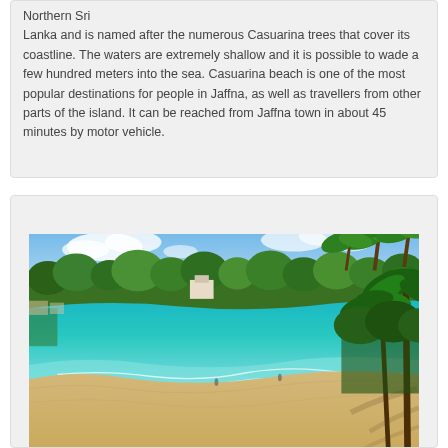Northern Sri Lanka and is named after the numerous Casuarina trees that cover its coastline. The waters are extremely shallow and it is possible to wade a few hundred meters into the sea. Casuarina beach is one of the most popular destinations for people in Jaffna, as well as travellers from other parts of the island. It can be reached from Jaffna town in about 45 minutes by motor vehicle.
[Figure (photo): A scenic tropical beach with turquoise water, white sand shoreline, and palm trees lining the coast under a blue sky with clouds. Casuarina beach, Sri Lanka.]